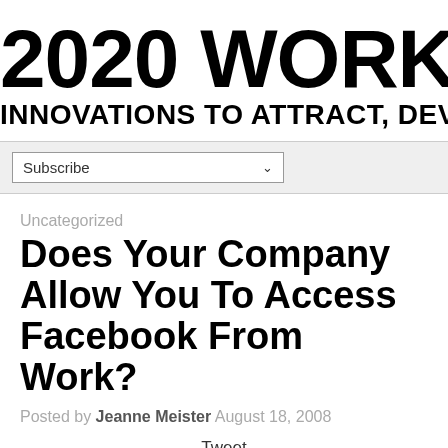2020 WORKPLACE INNOVATIONS TO ATTRACT, DEVEL
Subscribe
Uncategorized
Does Your Company Allow You To Access Facebook From Work?
Posted by Jeanne Meister August 18, 2008
Tweet